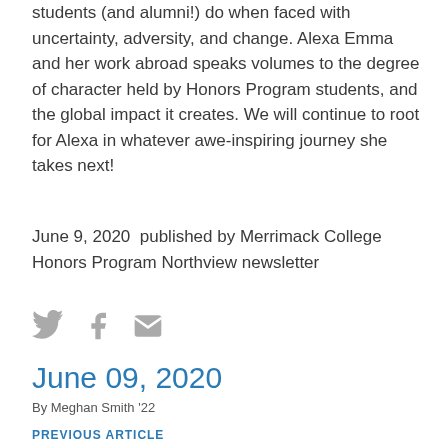students (and alumni!) do when faced with uncertainty, adversity, and change. Alexa Emma and her work abroad speaks volumes to the degree of character held by Honors Program students, and the global impact it creates. We will continue to root for Alexa in whatever awe-inspiring journey she takes next!
June 9, 2020  published by Merrimack College Honors Program Northview newsletter
[Figure (other): Social media share icons: Twitter bird, Facebook f, and email envelope, displayed in gray]
June 09, 2020
By Meghan Smith '22
PREVIOUS ARTICLE